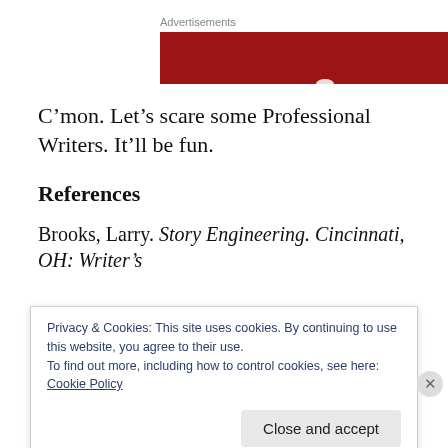Advertisements
[Figure (other): Red advertisement banner block]
C’mon. Let’s scare some Professional Writers. It’ll be fun.
References
Brooks, Larry. Story Engineering. Cincinnati, OH: Writer’s
Privacy & Cookies: This site uses cookies. By continuing to use this website, you agree to their use.
To find out more, including how to control cookies, see here: Cookie Policy
Close and accept